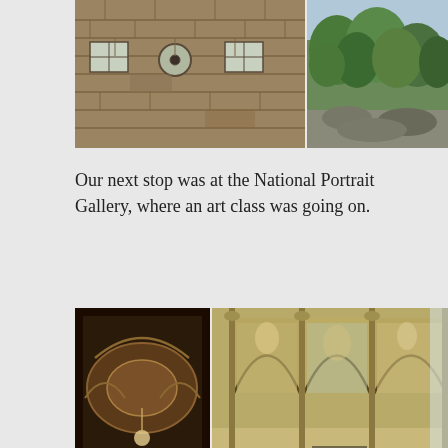[Figure (photo): Top portion showing two photos side by side: left photo of a stone wall building with rectangular and circular windows; right photo showing green trees and rocky landscape]
Our next stop was at the National Portrait Gallery, where an art class was going on.
[Figure (photo): Two interior photos of the National Portrait Gallery: left photo shows ornate interior from above with arches and art class; right photo shows grand hall with gothic arches, murals, and decorative columns]
From there, we cut across Princes Street to the Royal Mile and continued down towards Holyrood, spotting more interesting details on the way.